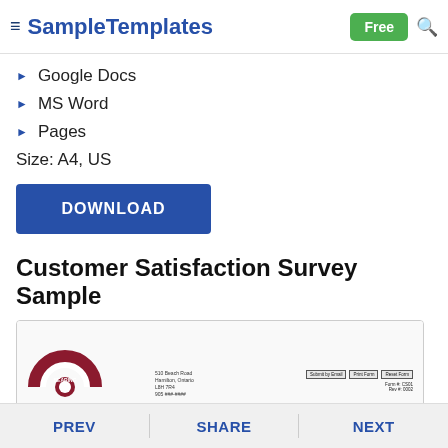SampleTemplates | Free
Google Docs
MS Word
Pages
Size: A4, US
DOWNLOAD
Customer Satisfaction Survey Sample
[Figure (screenshot): Preview thumbnail of a Customer Satisfaction Survey form with a Bearing logo, address details, form buttons (Submit by Email, Print Form, Reset Form), and form ID CS01 Rev #0002]
PREV | SHARE | NEXT